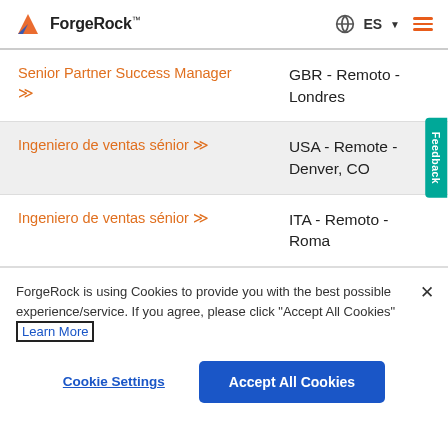ForgeRock — ES
Senior Partner Success Manager >> | GBR - Remoto - Londres
Ingeniero de ventas sénior >> | USA - Remote - Denver, CO
Ingeniero de ventas sénior >> | ITA - Remoto - Roma
ForgeRock is using Cookies to provide you with the best possible experience/service. If you agree, please click "Accept All Cookies" Learn More
Cookie Settings | Accept All Cookies